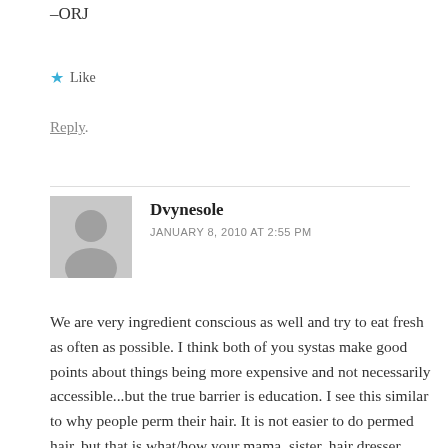–ORJ
★ Like
Reply
Dvynesole
JANUARY 8, 2010 AT 2:55 PM
We are very ingredient conscious as well and try to eat fresh as often as possible. I think both of you systas make good points about things being more expensive and not necessarily accessible...but the true barrier is education. I see this similar to why people perm their hair. It is not easier to do permed hair..but that is what/how your mama, sister, hair dresser know how to do...so that is what you do.